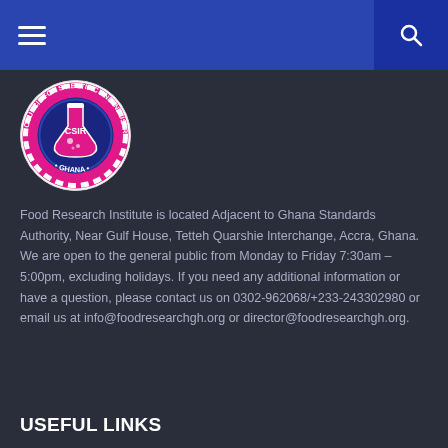Navigation bar with menu and search icons
[Figure (logo): CSIR - Council for Scientific and Industrial Research, Ghana circular logo with pink background, dark blue flask/lab equipment in center, gear border]
Food Research Institute is located Adjacent to Ghana Standards Authority, Near Gulf House, Tetteh Quarshie Interchange, Accra, Ghana. We are open to the general public from Monday to Friday 7:30am - 5:00pm, excluding holidays. If you need any additional information or have a question, please contact us on 0302-962068/+233-243302980 or email us at info@foodresearchgh.org or director@foodresearchgh.org.
USEFUL LINKS